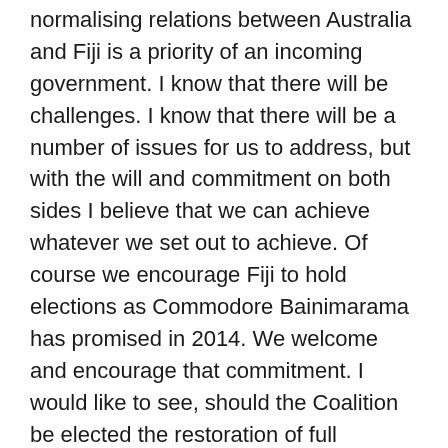normalising relations between Australia and Fiji is a priority of an incoming government. I know that there will be challenges. I know that there will be a number of issues for us to address, but with the will and commitment on both sides I believe that we can achieve whatever we set out to achieve. Of course we encourage Fiji to hold elections as Commodore Bainimarama has promised in 2014. We welcome and encourage that commitment. I would like to see, should the Coalition be elected the restoration of full diplomatic relations between Australia and Fiji. I would like to see Fiji welcomed back into the Commonwealth, the Pacific Island Forum and other forums around the world. I'm not pretending that an election can solve all issues – although I have to say that an election in